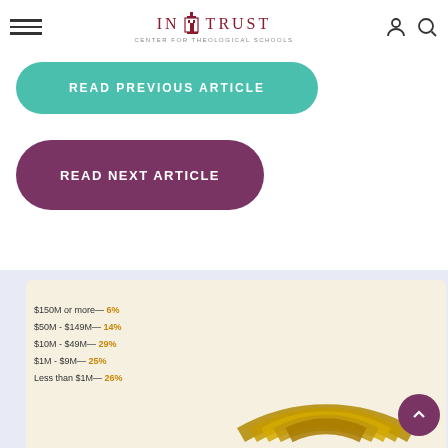IN TRUST CENTER FOR THEOLOGICAL SCHOOLS
READ PREVIOUS ARTICLE
READ NEXT ARTICLE
[Figure (other): Horizontal rainbow arc bar chart showing endowment size distribution: $150M or more 6%, $50M-$149M 14%, $10M-$49M 29%, $1M-$9M 25%, Less than $1M 26%]